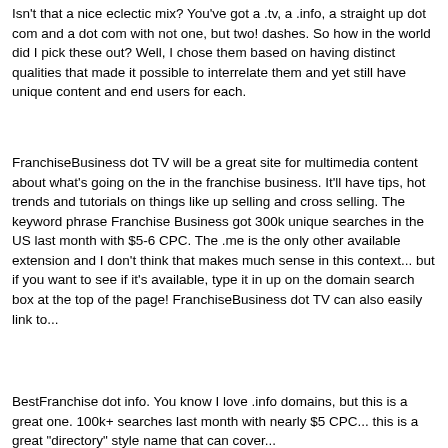Isn't that a nice eclectic mix? You've got a .tv, a .info, a straight up dot com and a dot com with not one, but two! dashes. So how in the world did I pick these out? Well, I chose them based on having distinct qualities that made it possible to interrelate them and yet still have unique content and end users for each.
FranchiseBusiness dot TV will be a great site for multimedia content about what's going on the in the franchise business. It'll have tips, hot trends and tutorials on things like up selling and cross selling. The keyword phrase Franchise Business got 300k unique searches in the US last month with $5-6 CPC. The .me is the only other available extension and I don't think that makes much sense in this context... but if you want to see if it's available, type it in up on the domain search box at the top of the page! FranchiseBusiness dot TV can also easily link to...
BestFranchise dot info. You know I love .info domains, but this is a great one. 100k+ searches last month with nearly $5 CPC... this is a great "directory" style name that can cover...